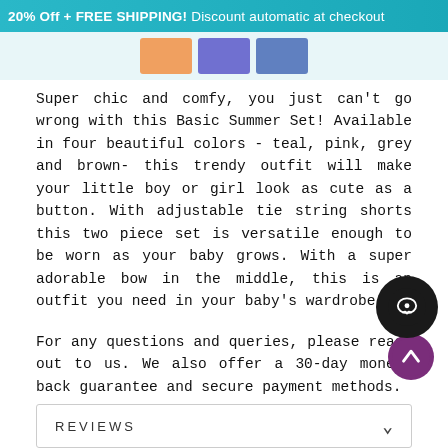20% Off + FREE SHIPPING! Discount automatic at checkout
[Figure (other): Thumbnail images of product variants (orange, purple, blue-grey)]
Super chic and comfy, you just can't go wrong with this Basic Summer Set! Available in four beautiful colors - teal, pink, grey and brown- this trendy outfit will make your little boy or girl look as cute as a button. With adjustable tie string shorts this two piece set is versatile enough to be worn as your baby grows. With a super adorable bow in the middle, this is an outfit you need in your baby's wardrobe!
For any questions and queries, please reach out to us. We also offer a 30-day money-back guarantee and secure payment methods.
[Figure (other): Scroll-to-top button (purple circle with upward arrow)]
[Figure (other): Live chat button (dark circle with chat icon)]
REVIEWS